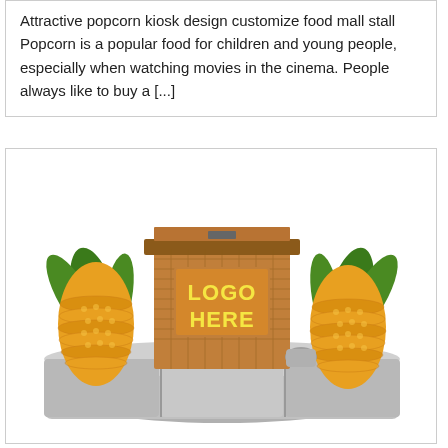Attractive popcorn kiosk design customize food mall stall Popcorn is a popular food for children and young people, especially when watching movies in the cinema. People always like to buy a [...]
[Figure (illustration): 3D rendering of a popcorn kiosk with a curved counter, two large decorative corn cob figures on the sides, and a central back wall panel displaying 'LOGO HERE' text on an orange/brown patterned surface.]